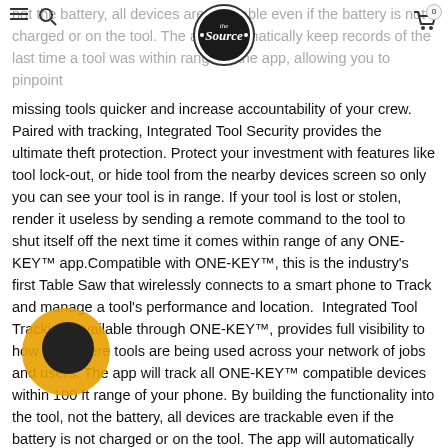not the battery, all devices are trackable even if the battery is not charged or on the tool. The app automatically keep records of the last time a tool was within range of the app, allowing you to pinpoint
missing tools quicker and increase accountability of your crew. Paired with tracking, Integrated Tool Security provides the ultimate theft protection. Protect your investment with features like tool lock-out, or hide tool from the nearby devices screen so only you can see your tool is in range. If your tool is lost or stolen, render it useless by sending a remote command to the tool to shut itself off the next time it comes within range of any ONE-KEY™ app.Compatible with ONE-KEY™, this is the industry's first Table Saw that wirelessly connects to a smart phone to Track and manage a tool's performance and location.  Integrated Tool Tracking, available through ONE-KEY™, provides full visibility to how and where tools are being used across your network of jobs and users. The app will track all ONE-KEY™ compatible devices within 100 ft range of your phone. By building the functionality into the tool, not the battery, all devices are trackable even if the battery is not charged or on the tool. The app will automatically keep records of the last time a tool was within range of the app, allowing you to pinpoint missing tools quicker and increase accountability of your crew. Paired with tracking, Integrated Tool Security provides the ultimate theft protection. Protect your investment with features like tool lock-out, or hide tool from the